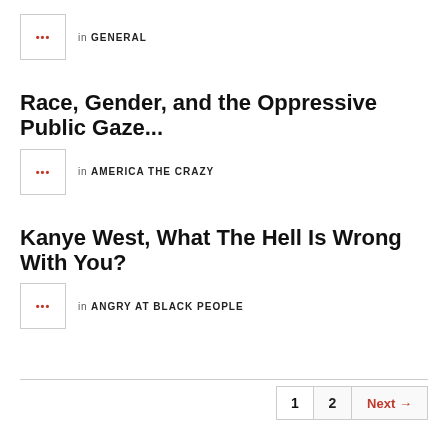[Figure (other): Avatar box with red ellipsis icon]
in GENERAL
Race, Gender, and the Oppressive Public Gaze...
[Figure (other): Avatar box with red ellipsis icon]
in AMERICA THE CRAZY
Kanye West, What The Hell Is Wrong With You?
[Figure (other): Avatar box with red ellipsis icon]
in ANGRY AT BLACK PEOPLE
1  2  Next →